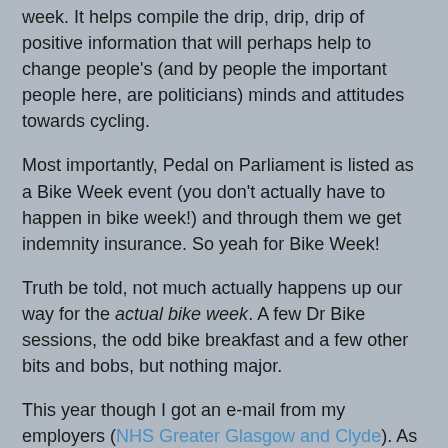week. It helps compile the drip, drip, drip of positive information that will perhaps help to change people's (and by people the important people here, are politicians) minds and attitudes towards cycling.
Most importantly, Pedal on Parliament is listed as a Bike Week event (you don't actually have to happen in bike week!) and through them we get indemnity insurance. So yeah for Bike Week!
Truth be told, not much actually happens up our way for the actual bike week. A few Dr Bike sessions, the odd bike breakfast and a few other bits and bobs, but nothing major.
This year though I got an e-mail from my employers (NHS Greater Glasgow and Clyde). As part of bike week they wanted cyclists who work for them, to share their stories of cycling to and from work. The best entry, be it 'good, bad, witty or earnest', would win a prize: a bike package up to the value of £500. You could enter this either via e-mail or via Twitter using the hashtag #nhsggccycling. Now, being a bit of a Twitter guy (though not during work as the NHS does not let you use it during work, which is sort of a mixed message...